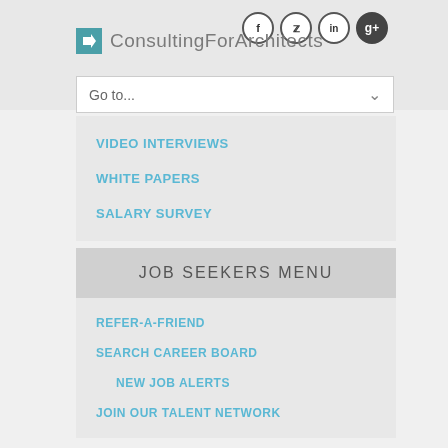ConsultingForArchitects
Go to...
VIDEO INTERVIEWS
WHITE PAPERS
SALARY SURVEY
JOB SEEKERS MENU
REFER-A-FRIEND
SEARCH CAREER BOARD
NEW JOB ALERTS
JOIN OUR TALENT NETWORK